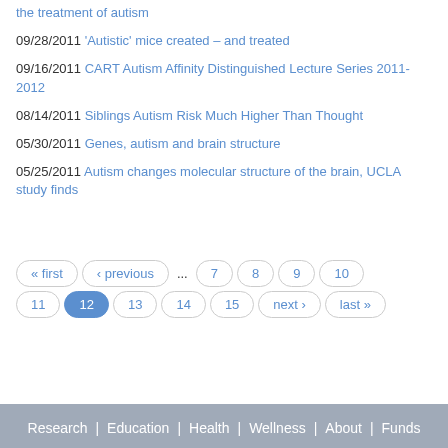the treatment of autism
09/28/2011 'Autistic' mice created – and treated
09/16/2011 CART Autism Affinity Distinguished Lecture Series 2011-2012
08/14/2011 Siblings Autism Risk Much Higher Than Thought
05/30/2011 Genes, autism and brain structure
05/25/2011 Autism changes molecular structure of the brain, UCLA study finds
Research | Education | Health | Wellness | About | Funds